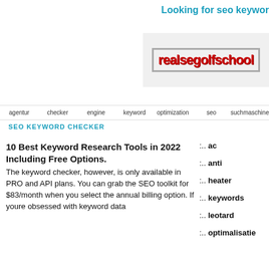Looking for seo keywor
[Figure (logo): realsegolfschool logo with red bold text on light background with border]
agentur  checker  engine  keyword  optimization  seo  suchmaschine
SEO KEYWORD CHECKER
10 Best Keyword Research Tools in 2022 Including Free Options.
The keyword checker, however, is only available in PRO and API plans. You can grab the SEO toolkit for $83/month when you select the annual billing option. If youre obsessed with keyword data
:.. ac
:.. anti
:.. heater
:.. keywords
:.. leotard
:.. optimalisatie